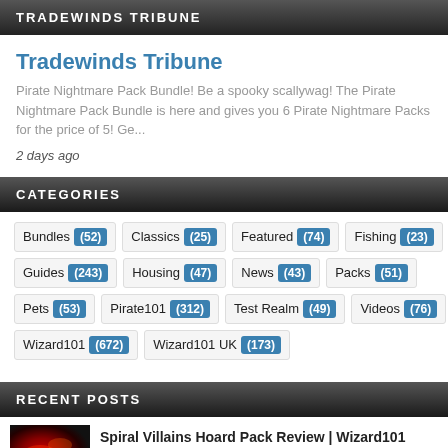TRADEWINDS TRIBUNE
Tradewinds Tribune
Pirate Nightmare Pack Bundle! Be a spooky scallywag! The Pirate Nightmare Pack Bundle is here and gives you 6 Pirate Nightmare Packs for the price of 5! Ge...
2 days ago
CATEGORIES
Bundles (52)
Classics (25)
Featured (74)
Fishing (23)
Guides (243)
Housing (47)
News (43)
Packs (51)
Pets (53)
Pirate101 (312)
Test Realm (49)
Videos (76)
Wizard101 (672)
Wizard101 UK (173)
RECENT POSTS
Spiral Villains Hoard Pack Review | Wizard101